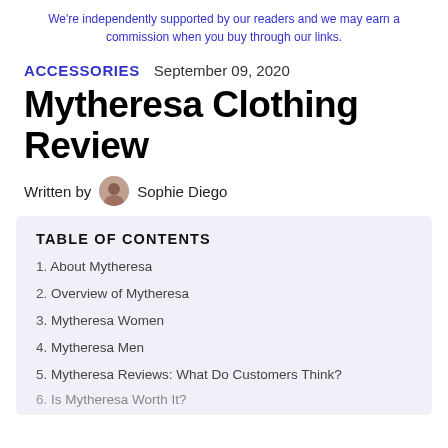We're independently supported by our readers and we may earn a commission when you buy through our links.
ACCESSORIES   September 09, 2020
Mytheresa Clothing Review
Written by  Sophie Diego
TABLE OF CONTENTS
1. About Mytheresa
2. Overview of Mytheresa
3. Mytheresa Women
4. Mytheresa Men
5. Mytheresa Reviews: What Do Customers Think?
6. Is Mytheresa Worth It?